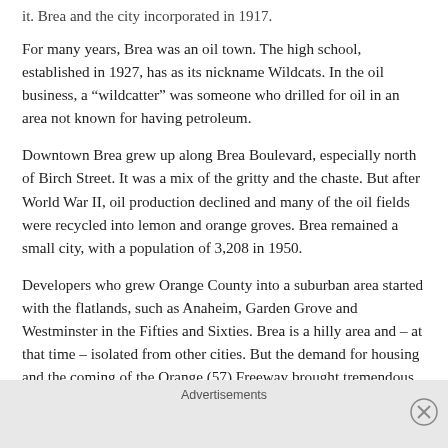it. Brea and the city incorporated in 1917.
For many years, Brea was an oil town. The high school, established in 1927, has as its nickname Wildcats. In the oil business, a “wildcatter” was someone who drilled for oil in an area not known for having petroleum.
Downtown Brea grew up along Brea Boulevard, especially north of Birch Street. It was a mix of the gritty and the chaste. But after World War II, oil production declined and many of the oil fields were recycled into lemon and orange groves. Brea remained a small city, with a population of 3,208 in 1950.
Developers who grew Orange County into a suburban area started with the flatlands, such as Anaheim, Garden Grove and Westminster in the Fifties and Sixties. Brea is a hilly area and – at that time – isolated from other cities. But the demand for housing and the coming of the Orange (57) Freeway brought tremendous growth to Brea, and the opening of Brea Mall in 1988 made the city into a retail powerhouse.
Advertisements